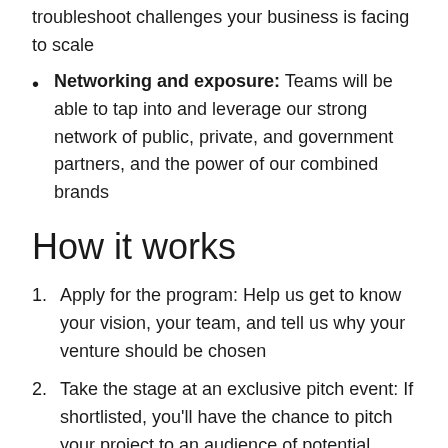troubleshoot challenges your business is facing to scale
Networking and exposure: Teams will be able to tap into and leverage our strong network of public, private, and government partners, and the power of our combined brands
How it works
Apply for the program: Help us get to know your vision, your team, and tell us why your venture should be chosen
Take the stage at an exclusive pitch event: If shortlisted, you'll have the chance to pitch your project to an audience of potential partners, investors, and officials at an exclusive, invite-only pitch event. Tell your story and compete for non-